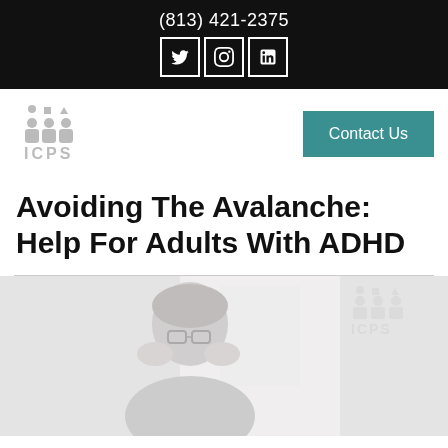(813) 421-2375
[Figure (logo): ICPS logo with people icons]
[Figure (other): Contact Us button (teal)]
Avoiding The Avalanche: Help For Adults With ADHD
[Figure (photo): Photo of a person holding their head in their hands, possibly stressed, with ICPS watermark logo in upper right corner]